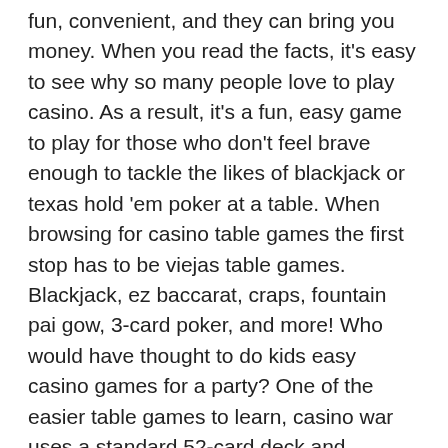fun, convenient, and they can bring you money. When you read the facts, it's easy to see why so many people love to play casino. As a result, it's a fun, easy game to play for those who don't feel brave enough to tackle the likes of blackjack or texas hold 'em poker at a table. When browsing for casino table games the first stop has to be viejas table games. Blackjack, ez baccarat, craps, fountain pai gow, 3-card poker, and more! Who would have thought to do kids easy casino games for a party? One of the easier table games to learn, casino war uses a standard 52-card deck and requires no skill to play. The game lets players bet on who will draw a Dan heeft Prime Slots nog een geweldige welkomstbonus in petto voor jou. Wat dacht je van een jaar lang elke week 10 free spins die je kunt verzilveren op het zeer bekende book of dead slot. Wanneer